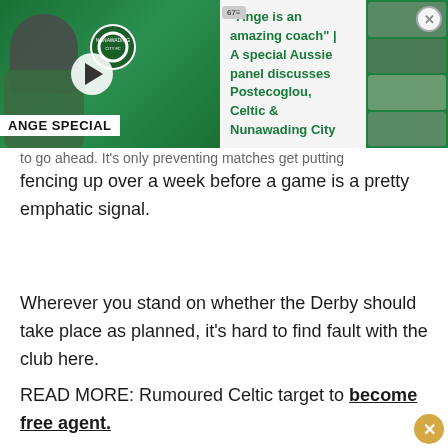[Figure (screenshot): Video ad banner with green background showing 'Ange Special' thumbnail with a man in green jacket, play button, and faces grid on right. Text overlay reads: "Ange is an amazing coach" | A special Aussie panel discusses Postecoglou, Celtic & Nunawading City. Close button in top right.]
...to go ahead. It's only preventing matches get putting fencing up over a week before a game is a pretty emphatic signal.
Wherever you stand on whether the Derby should take place as planned, it's hard to find fault with the club here.
READ MORE: Rumoured Celtic target to become free agent.